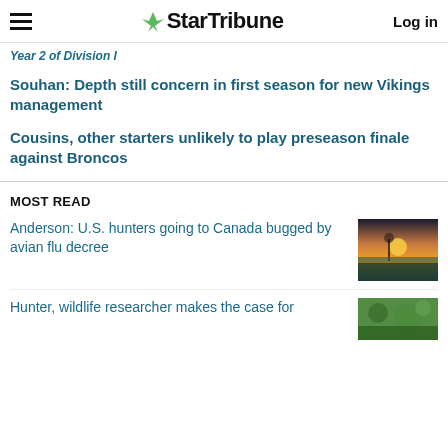StarTribune | Log in
Year 2 of Division I
Souhan: Depth still concern in first season for new Vikings management
Cousins, other starters unlikely to play preseason finale against Broncos
MOST READ
Anderson: U.S. hunters going to Canada bugged by avian flu decree
[Figure (photo): Silhouette of a person near water at sunset]
Hunter, wildlife researcher makes the case for
[Figure (photo): Outdoor nature scene with green foliage]